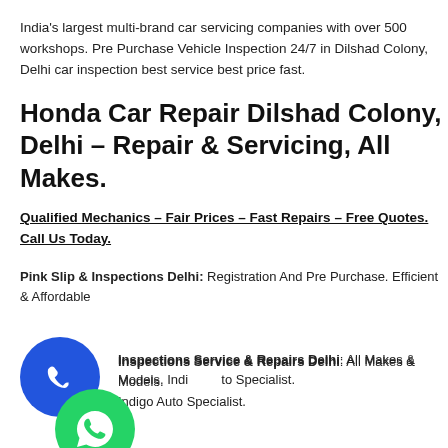India's largest multi-brand car servicing companies with over 500 workshops. Pre Purchase Vehicle Inspection 24/7 in Dilshad Colony, Delhi car inspection best service best price fast.
Honda Car Repair Dilshad Colony, Delhi – Repair & Servicing, All Makes.
Qualified Mechanics – Fair Prices – Fast Repairs – Free Quotes. Call Us Today.
Pink Slip & Inspections Delhi: Registration And Pre Purchase. Efficient & Affordable
[Figure (illustration): Blue circular phone/call button icon]
Inspections Service & Repairs Delhi: All Makes & Models. Indigo Auto Specialist.
[Figure (illustration): Green circular WhatsApp button icon]